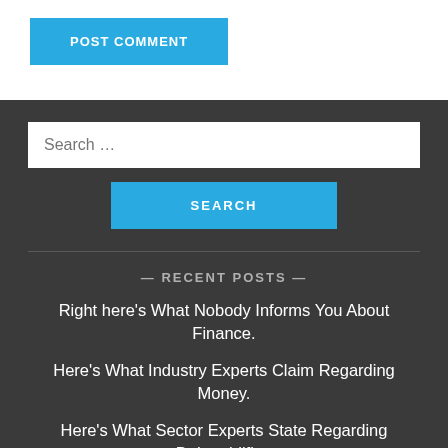[Figure (other): POST COMMENT button - cyan/blue rectangular button with white uppercase text]
[Figure (other): Search input field - white rectangle with placeholder text 'Search ...']
[Figure (other): SEARCH button - cyan/blue rectangular button with white uppercase text]
— RECENT POSTS —
Right here's What Nobody Informs You About Finance.
Here's What Industry Experts Claim Regarding Money.
Here's What Sector Experts State Regarding Dehumidifier.